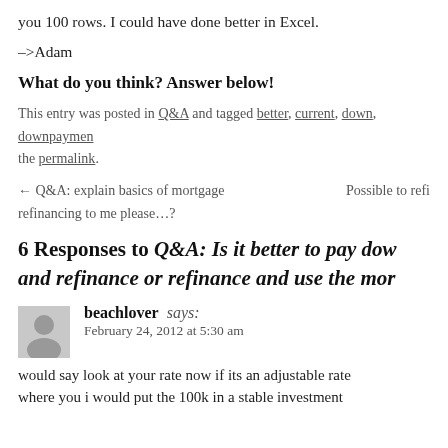you 100 rows. I could have done better in Excel.
–>Adam
What do you think? Answer below!
This entry was posted in Q&A and tagged better, current, down, downpayment, the permalink.
← Q&A: explain basics of mortgage refinancing to me please…?    Possible to refi
6 Responses to Q&A: Is it better to pay dow and refinance or refinance and use the mor
beachlover says:
February 24, 2012 at 5:30 am
would say look at your rate now if its an adjustable rate where you i would put the 100k in a stable investment